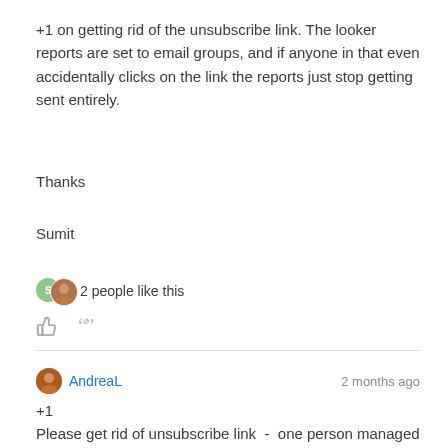+1 on getting rid of the unsubscribe link. The looker reports are set to email groups, and if anyone in that even accidentally clicks on the link the reports just stop getting sent entirely.
Thanks
Sumit
2 people like this
+1
Please get rid of unsubscribe link - one person managed to unsubscribe 500 people from the daily company reports.